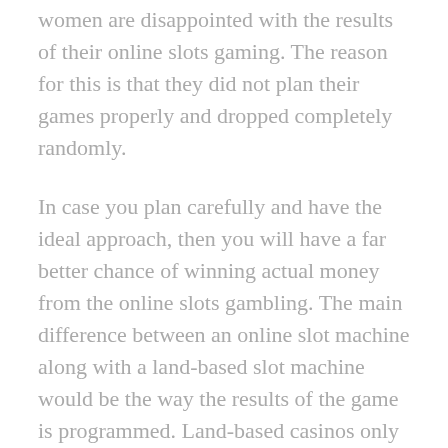women are disappointed with the results of their online slots gaming. The reason for this is that they did not plan their games properly and dropped completely randomly.
In case you plan carefully and have the ideal approach, then you will have a far better chance of winning actual money from the online slots gambling. The main difference between an online slot machine along with a land-based slot machine would be the way the results of the game is programmed. Land-based casinos only assign a specific amount of money to each player at random once the ball rolls the handle. With an online slots game, the computer decides which player will win based solely on the preceding choices that they have made. This is only one reason why online slots games